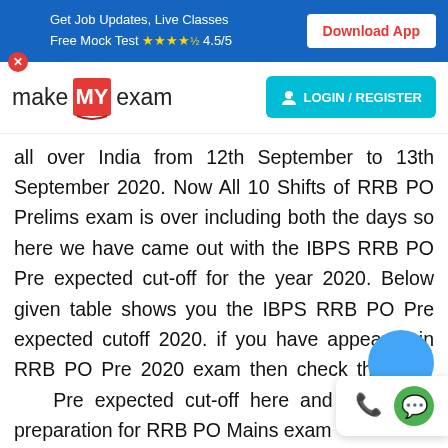Get Job Updates, Live Classes Free Mock Test ★★★★½ 4.5/5 | Download App
[Figure (logo): makeMyexam logo with red book icon]
all over India from 12th September to 13th September 2020. Now All 10 Shifts of RRB PO Prelims exam is over including both the days so here we have came out with the IBPS RRB PO Pre expected cut-off for the year 2020. Below given table shows you the IBPS RRB PO Pre expected cutoff 2020. if you have appeared in RRB PO Pre 2020 exam then check the RRB PO Pre expected cut-off here and Start your preparation for RRB PO Mains exam.
Factors Affecting IBPS RRB PO Cut Off
Before seeing the IBPS RRB Office Scale-I Prelim...